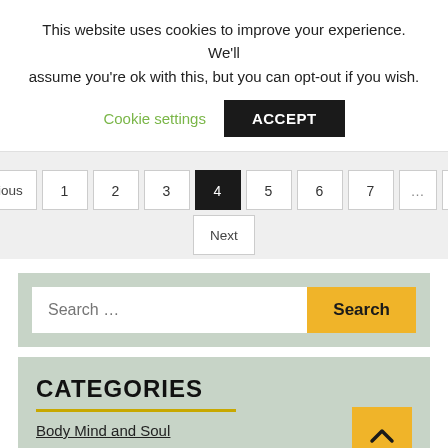This website uses cookies to improve your experience. We'll assume you're ok with this, but you can opt-out if you wish.
Cookie settings | ACCEPT
Previous 1 2 3 4 5 6 7 ... 90 Next
Search ...
CATEGORIES
Body Mind and Soul
Everyday Health
Fasting